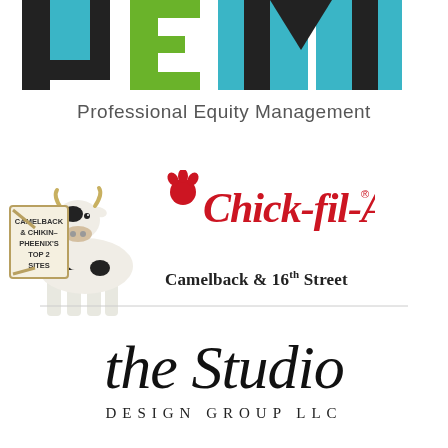[Figure (logo): PEM - Professional Equity Management logo with black, teal/blue, and green geometric shapes forming letters P, E, M above the text 'Professional Equity Management']
[Figure (illustration): Chick-fil-A branded section: a cow illustration holding a sign reading 'CAMELBACK & CHIKIN- PHEENIX'S TOP 2 SITES', next to the Chick-fil-A cursive red logo and the text 'Camelback & 16th Street']
[Figure (logo): The Studio Design Group LLC logo in cursive/script font with 'DESIGN GROUP LLC' in small caps beneath]